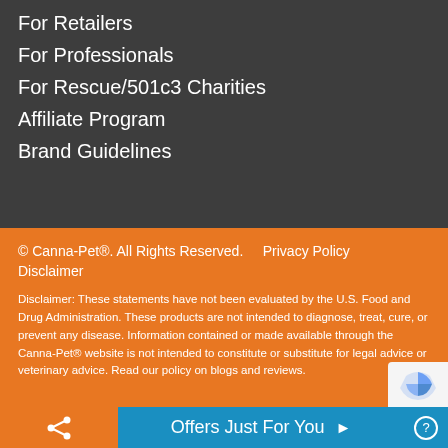For Retailers
For Professionals
For Rescue/501c3 Charities
Affiliate Program
Brand Guidelines
© Canna-Pet®. All Rights Reserved.    Privacy Policy  Disclaimer
Disclaimer: These statements have not been evaluated by the U.S. Food and Drug Administration. These products are not intended to diagnose, treat, cure, or prevent any disease. Information contained or made available through the Canna-Pet® website is not intended to constitute or substitute for legal advice or veterinary advice. Read our policy on blogs and reviews.
Offers Just For You